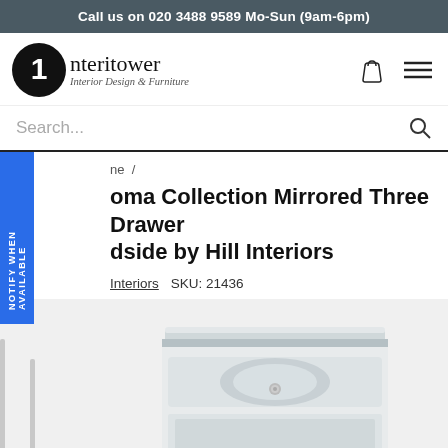Call us on 020 3488 9589 Mo-Sun (9am-6pm)
[Figure (logo): Interitower Interior Design & Furniture logo with circular icon and text]
Search...
NOTIFY WHEN AVAILABLE
ne /
oma Collection Mirrored Three Drawer dside by Hill Interiors
Interiors   SKU: 21436
[Figure (photo): Mirrored three drawer bedside table with silver chrome handles and mirrored top surface]